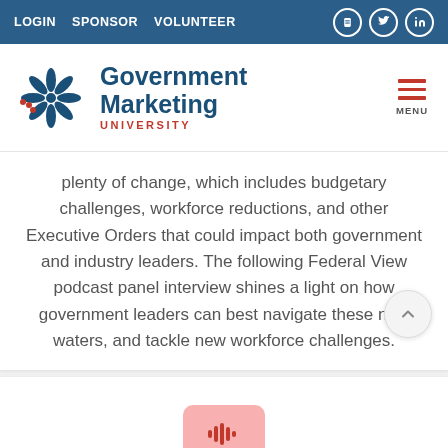LOGIN  SPONSOR  VOLUNTEER
[Figure (logo): Government Marketing University logo with snowflake/star graphic and text]
plenty of change, which includes budgetary challenges, workforce reductions, and other Executive Orders that could impact both government and industry leaders. The following Federal View podcast panel interview shines a light on how government leaders can best navigate these new waters, and tackle new workforce challenges.
[Figure (other): Audio player button with sound wave icon on pink/red background]